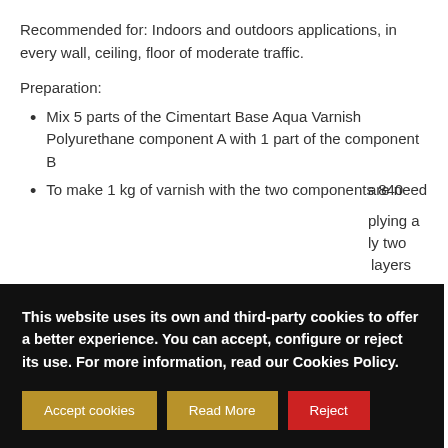Recommended for: Indoors and outdoors applications, in every wall, ceiling, floor of moderate traffic.
Preparation:
Mix 5 parts of the Cimentart Base Aqua Varnish Polyurethane component A with 1 part of the component B
To make 1 kg of varnish with the two components 840 …are need
This website uses its own and third-party cookies to offer a better experience. You can accept, configure or reject its use. For more information, read our Cookies Policy.
Accept cookies | Read More | Reject